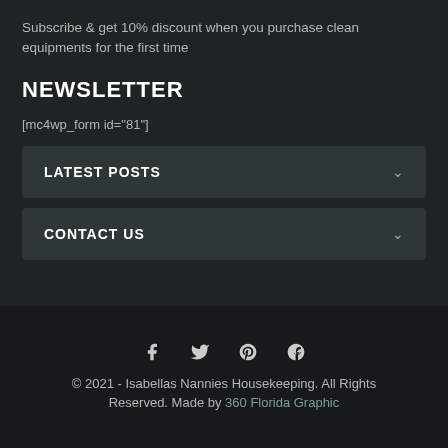Subscribe & get 10% discount when you purchase clean equipments for the first time
NEWSLETTER
[mc4wp_form id="81"]
LATEST POSTS
CONTACT US
© 2021 - Isabellas Nannies Housekeeping. All Rights Reserved. Made by 360 Florida Graphic